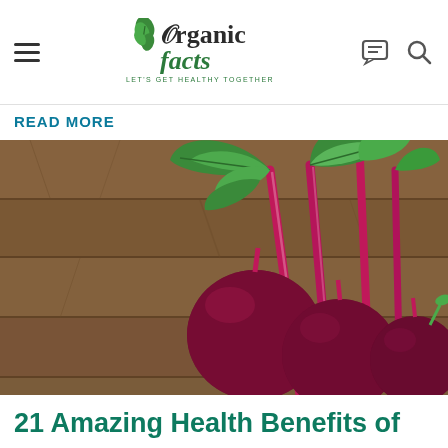Organic Facts — LET'S GET HEALTHY TOGETHER
READ MORE
[Figure (photo): Three fresh red beets with vibrant magenta stems and green leafy tops, arranged on a rustic wooden plank surface]
21 Amazing Health Benefits of